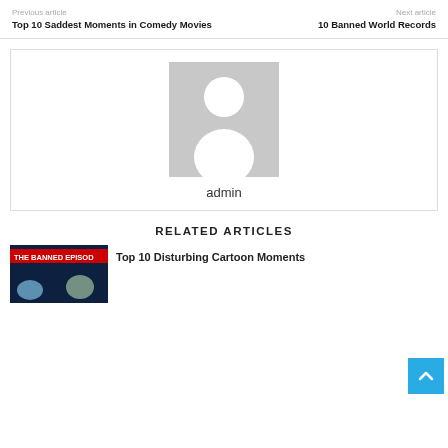Previous article | Next article
Top 10 Saddest Moments in Comedy Movies
10 Banned World Records
[Figure (illustration): Default user avatar placeholder image showing a grey silhouette of a person on a grey background]
admin
RELATED ARTICLES
[Figure (photo): Thumbnail image showing 'The Banned Episodes' text with cartoon characters]
Top 10 Disturbing Cartoon Moments